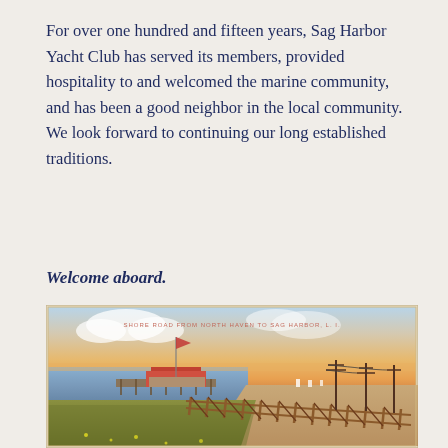For over one hundred and fifteen years, Sag Harbor Yacht Club has served its members, provided hospitality to and welcomed the marine community, and has been a good neighbor in the local community.  We look forward to continuing our long established traditions.
Welcome aboard.
[Figure (photo): Vintage postcard illustration of Shore Road from North Haven to Sag Harbor, L.I., showing a wooden causeway/pier extending over water with a red-roofed building, telegraph poles, a dirt road with wooden fence, and a sunset sky.]